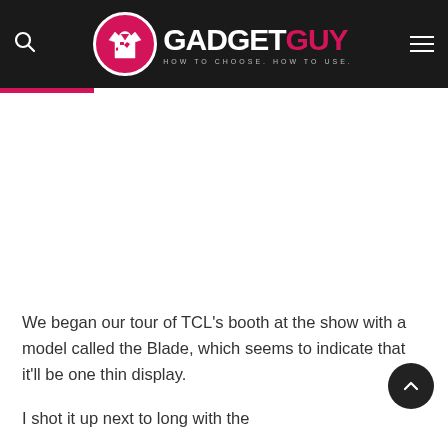GADGET GUY — HOW TO CHOOSE. HOW TO USE.
[Figure (other): Blank advertisement or image area below the GadgetGuy header navigation bar]
We began our tour of TCL's booth at the show with a model called the Blade, which seems to indicate that it'll be one thin display.
I shood it up next to long with the remaining text cut off at bottom